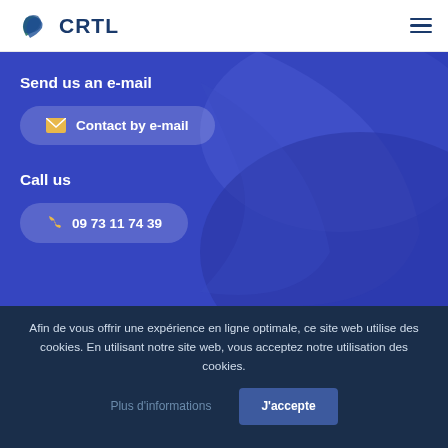CRTL
Send us an e-mail
Contact by e-mail
Call us
09 73 11 74 39
Afin de vous offrir une expérience en ligne optimale, ce site web utilise des cookies. En utilisant notre site web, vous acceptez notre utilisation des cookies.
Plus d'informations
J'accepte